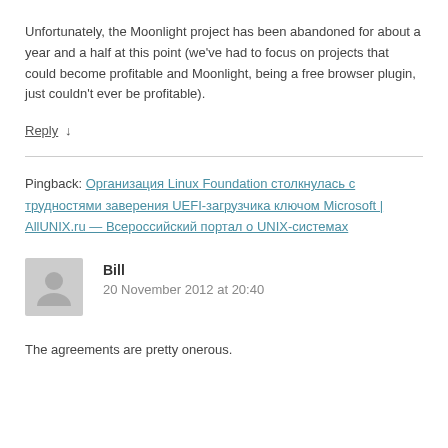Unfortunately, the Moonlight project has been abandoned for about a year and a half at this point (we've had to focus on projects that could become profitable and Moonlight, being a free browser plugin, just couldn't ever be profitable).
Reply ↓
Pingback: Организация Linux Foundation столкнулась с трудностями заверения UEFI-загрузчика ключом Microsoft | AllUNIX.ru — Всероссийский портал о UNIX-системах
Bill
20 November 2012 at 20:40
The agreements are pretty onerous.